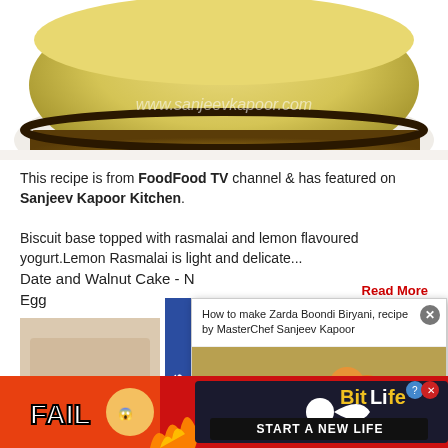[Figure (photo): Close-up of a lemon rasmalai cheesecake with www.sanjeevkapoor.com watermark, showing yellow creamy top and biscuit base on a white plate]
This recipe is from FoodFood TV channel & has featured on Sanjeev Kapoor Kitchen.
Biscuit base topped with rasmalai and lemon flavoured yogurt.Lemon Rasmalai is light and delicate...
Read More
Date and Walnut Cake - N
Egg
[Figure (screenshot): Featured Recipes popup overlay showing Zarda Boondi Biryani recipe by MasterChef Sanjeev Kapoor with a bowl of biryani garnished with cream, orange slices and mint]
[Figure (photo): BitLife advertisement banner with FAIL text, cartoon character, fire graphics and START A NEW LIFE text]